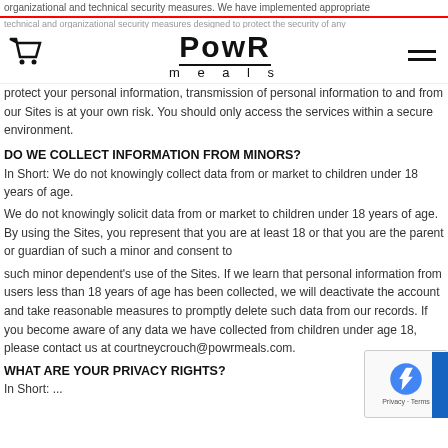PowR meals — navigation header with cart icon and menu icon
organizational and technical security measures. We have implemented appropriate technical and organizational security measures designed to protect the security of any personal information we process.
protect your personal information, transmission of personal information to and from our Sites is at your own risk. You should only access the services within a secure environment.
DO WE COLLECT INFORMATION FROM MINORS?
In Short: We do not knowingly collect data from or market to children under 18 years of age.
We do not knowingly solicit data from or market to children under 18 years of age. By using the Sites, you represent that you are at least 18 or that you are the parent or guardian of such a minor and consent to such minor dependent's use of the Sites. If we learn that personal information from users less than 18 years of age has been collected, we will deactivate the account and take reasonable measures to promptly delete such data from our records. If you become aware of any data we have collected from children under age 18, please contact us at courtneycrouch@powrmeals.com.
WHAT ARE YOUR PRIVACY RIGHTS?
In Short: ...